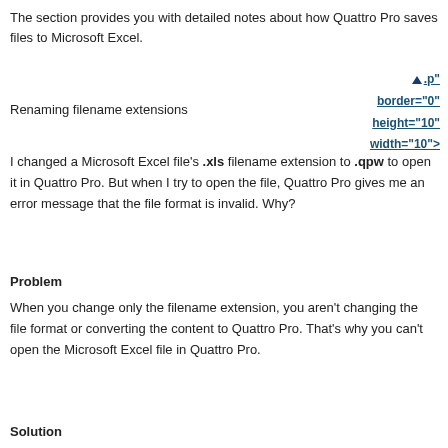The section provides you with detailed notes about how Quattro Pro saves files to Microsoft Excel.
Renaming filename extensions
.p" border="0" height="10" width="10">
I changed a Microsoft Excel file's .xls filename extension to .qpw to open it in Quattro Pro. But when I try to open the file, Quattro Pro gives me an error message that the file format is invalid. Why?
Problem
When you change only the filename extension, you aren't changing the file format or converting the content to Quattro Pro. That's why you can't open the Microsoft Excel file in Quattro Pro.
Solution